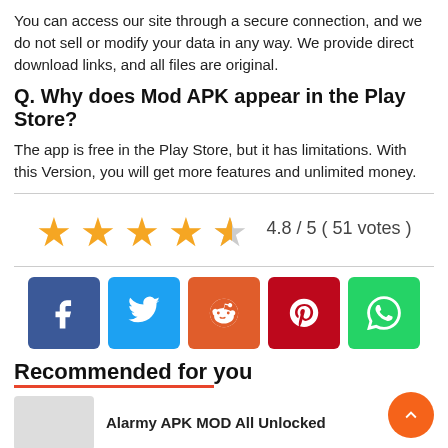You can access our site through a secure connection, and we do not sell or modify your data in any way. We provide direct download links, and all files are original.
Q. Why does Mod APK appear in the Play Store?
The app is free in the Play Store, but it has limitations. With this Version, you will get more features and unlimited money.
[Figure (infographic): Star rating showing 4.8 out of 5 with 51 votes, displayed with 4 full orange stars and one half-filled star]
[Figure (infographic): Social sharing buttons row: Facebook (blue), Twitter (light blue), Reddit (orange-red), Pinterest (dark red), WhatsApp (green)]
Recommended for you
Alarmy APK MOD All Unlocked